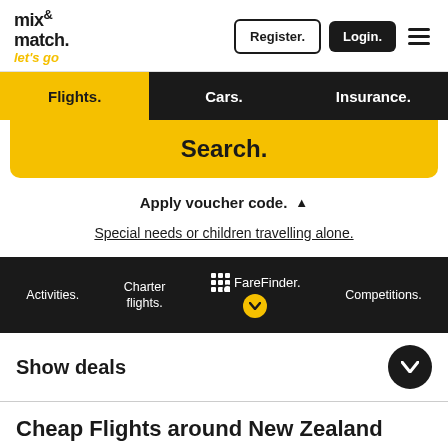[Figure (logo): mix & match. let's go logo in black and yellow]
Register.
Login.
Flights.
Cars.
Insurance.
Search.
Apply voucher code. ▲
Special needs or children travelling alone.
Activities.
Charter flights.
FareFinder.
Competitions.
Show deals
Cheap Flights around New Zealand